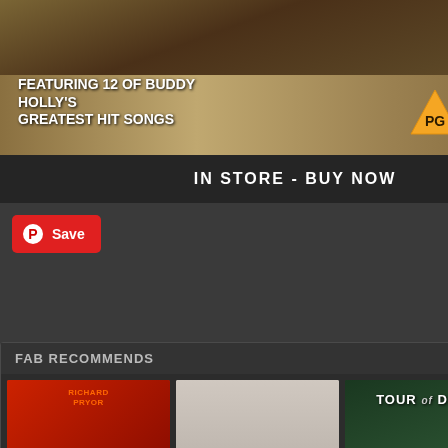[Figure (photo): Movie banner with text 'FEATURING 12 OF BUDDY HOLLY'S GREATEST HIT SONGS' and PG rating badges]
IN STORE - BUY NOW
[Figure (infographic): Pinterest Save button, red with Pinterest logo]
FAB RECOMMENDS
[Figure (photo): Three movie cover thumbnails: Which Way Is Up?, Sympathy for the Devil, Tour of Duty]
DIRECTOR
Steve Rash
Release Date: Feb 22 2021
FHED40
Navigation
Browse
Home
Catalogue
Movie
Television
Special Interest